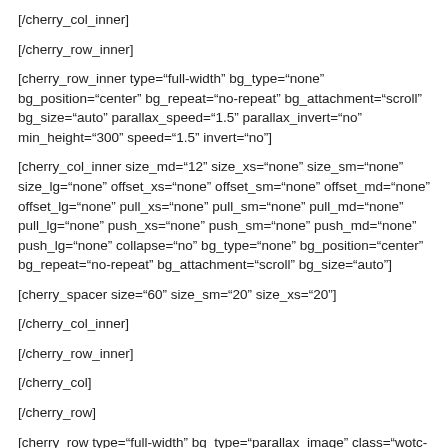[/cherry_col_inner]
[/cherry_row_inner]
[cherry_row_inner type="full-width" bg_type="none" bg_position="center" bg_repeat="no-repeat" bg_attachment="scroll" bg_size="auto" parallax_speed="1.5" parallax_invert="no" min_height="300" speed="1.5" invert="no"]
[cherry_col_inner size_md="12" size_xs="none" size_sm="none" size_lg="none" offset_xs="none" offset_sm="none" offset_md="none" offset_lg="none" pull_xs="none" pull_sm="none" pull_md="none" pull_lg="none" push_xs="none" push_sm="none" push_md="none" push_lg="none" collapse="no" bg_type="none" bg_position="center" bg_repeat="no-repeat" bg_attachment="scroll" bg_size="auto"]
[cherry_spacer size="60" size_sm="20" size_xs="20"]
[/cherry_col_inner]
[/cherry_row_inner]
[/cherry_col]
[/cherry_row]
[cherry_row type="full-width" bg_type="parallax_image" class="wotc-section1" image_src="https://secureservercdn.net/50.62.89.49/0fe.992.myftpupload.com